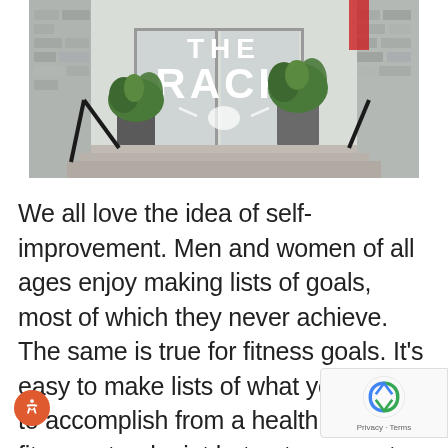[Figure (photo): Exterior storefront photo of 'The Rack' gym/fitness studio. Large glass doors with THE RACK logo and a longhorn skull graphic. Large green tropical plants in dark pots flank the entrance steps. Brick building exterior visible on sides. Railing on left side of steps.]
We all love the idea of self-improvement. Men and women of all ages enjoy making lists of goals, most of which they never achieve. The same is true for fitness goals. It's easy to make lists of what you'd like to accomplish from a health and fitness standpoint but not so easy to